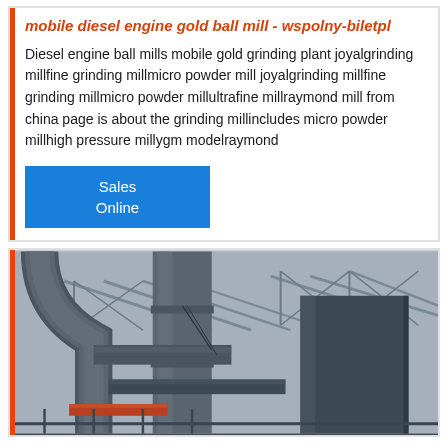mobile diesel engine gold ball mill - wspolny-biletpl
Diesel engine ball mills mobile gold grinding plant joyalgrinding millfine grinding millmicro powder mill joyalgrinding millfine grinding millmicro powder millultrafine millraymond mill from china page is about the grinding millincludes micro powder millhigh pressure millygm modelraymond
Sales Online
[Figure (photo): Industrial photo showing large metal pipes, cylindrical tanks, and structural steel framework inside what appears to be a factory or processing plant. The machinery appears to be grinding or milling equipment with large cylindrical columns and connecting pipes. The background shows a corrugated roof structure.]